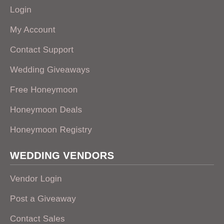Login
My Account
Contact Support
Wedding Giveaways
Free Honeymoon
Honeymoon Deals
Honeymoon Registry
WEDDING VENDORS
Vendor Login
Post a Giveaway
Contact Sales